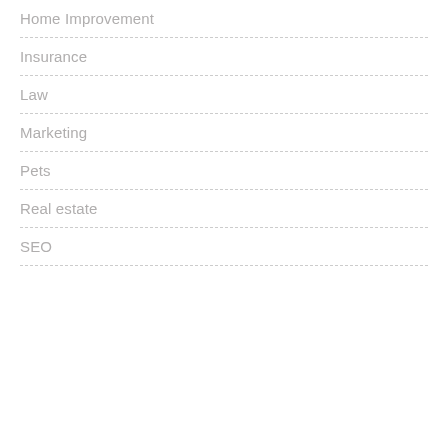Home Improvement
Insurance
Law
Marketing
Pets
Real estate
SEO